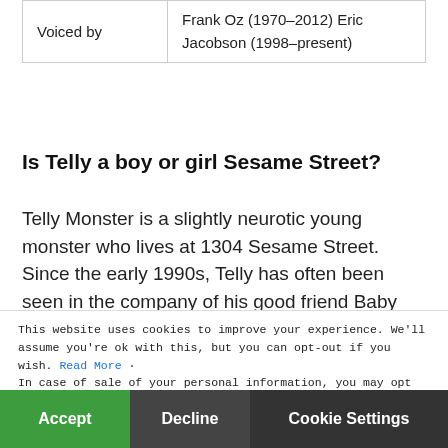|  |  |
| --- | --- |
| Voiced by | Frank Oz (1970–2012) Eric Jacobson (1998–present) |
Is Telly a boy or girl Sesame Street?
Telly Monster is a slightly neurotic young monster who lives at 1304 Sesame Street. Since the early 1990s, Telly has often been seen in the company of his good friend Baby Bear. Telly has a great love of triangles, and owns a pet hamster named Chuckie Sue.
What happened to Elmo's mom?
This website uses cookies to improve your experience. We'll assume you're ok with this, but you can opt-out if you wish. Read More
In case of sale of your personal information, you may opt out by using the link Do Not Sell My Personal Information
Mae is Elmo's mother and Louie's wife. She first a... Talk, Listen, Co... videos, helping Elmo to cope with the absence of his
Accept | Decline | Cookie Settings